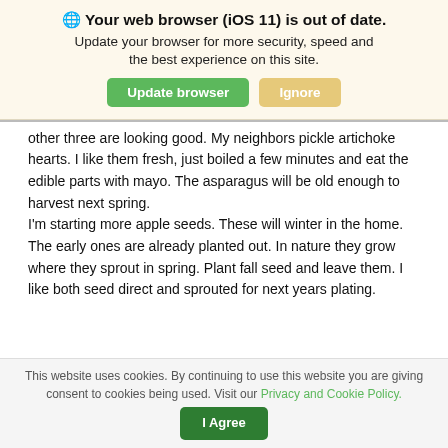🌐 Your web browser (iOS 11) is out of date. Update your browser for more security, speed and the best experience on this site.
other three are looking good. My neighbors pickle artichoke hearts. I like them fresh, just boiled a few minutes and eat the edible parts with mayo. The asparagus will be old enough to harvest next spring. I'm starting more apple seeds. These will winter in the home. The early ones are already planted out. In nature they grow where they sprout in spring. Plant fall seed and leave them. I like both seed direct and sprouted for next years plating.
This website uses cookies. By continuing to use this website you are giving consent to cookies being used. Visit our Privacy and Cookie Policy.